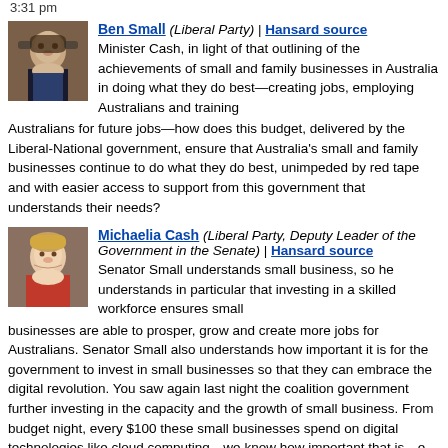3:31 pm
Ben Small (Liberal Party) | Hansard source
Minister Cash, in light of that outlining of the achievements of small and family businesses in Australia in doing what they do best—creating jobs, employing Australians and training Australians for future jobs—how does this budget, delivered by the Liberal-National government, ensure that Australia's small and family businesses continue to do what they do best, unimpeded by red tape and with easier access to support from this government that understands their needs?
Michaelia Cash (Liberal Party, Deputy Leader of the Government in the Senate) | Hansard source
Senator Small understands small business, so he understands in particular that investing in a skilled workforce ensures small businesses are able to prosper, grow and create more jobs for Australians. Senator Small also understands how important it is for the government to invest in small businesses so that they can embrace the digital revolution. You saw again last night the coalition government further investing in the capacity and the growth of small business. From budget night, every $100 these small businesses spend on digital technologies like cloud computing—we know how important that is—e-invoicing, cybersecurity and web design will now see them get a $120 tax deduction. That is getting them where we need them to be: in the digital